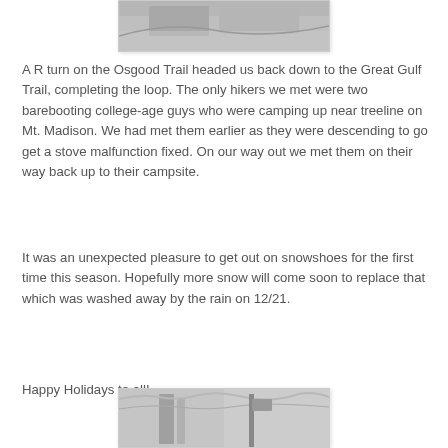[Figure (photo): Snowy winter scene, partially visible at top of page, black and white photograph]
A R turn on the Osgood Trail headed us back down to the Great Gulf Trail, completing the loop. The only hikers we met were two barebooting college-age guys who were camping up near treeline on Mt. Madison. We had met them earlier as they were descending to go get a stove malfunction fixed. On our way out we met them on their way back up to their campsite.
It was an unexpected pleasure to get out on snowshoes for the first time this season. Hopefully more snow will come soon to replace that which was washed away by the rain on 12/21.
Happy Holidays to all!
[Figure (photo): Snowy winter forest scene with snow-covered branches and a trail sign, black and white photograph, partially visible at bottom of page]